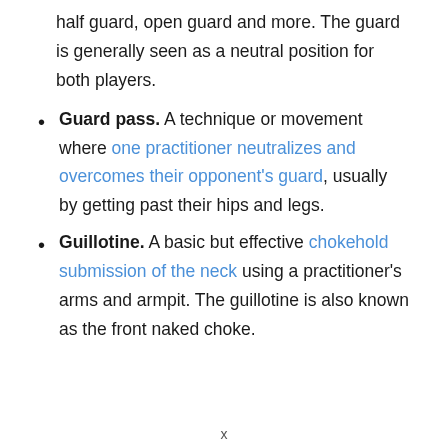half guard, open guard and more. The guard is generally seen as a neutral position for both players.
Guard pass. A technique or movement where one practitioner neutralizes and overcomes their opponent's guard, usually by getting past their hips and legs.
Guillotine. A basic but effective chokehold submission of the neck using a practitioner's arms and armpit. The guillotine is also known as the front naked choke.
x